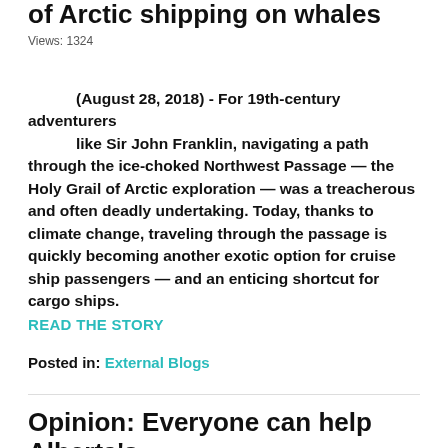of Arctic shipping on whales
Views: 1324
(August 28, 2018)  -  For 19th-century adventurers like Sir John Franklin, navigating a path through the ice-choked Northwest Passage — the Holy Grail of Arctic exploration — was a treacherous and often deadly undertaking. Today, thanks to climate change, traveling through the passage is quickly becoming another exotic option for cruise ship passengers — and an enticing shortcut for cargo ships.
READ THE STORY
Posted in: External Blogs
Opinion: Everyone can help Alberta's